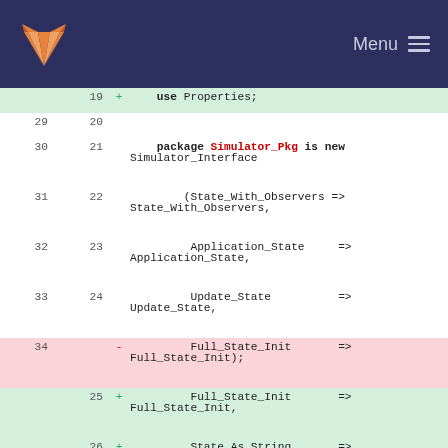GitLab logo | Menu
[Figure (screenshot): Code diff view showing Ada package declaration changes. Lines 19-36 old, 19-29 new shown. Removed line 34: Full_State_Init => Full_State_Init);  Added lines 25-27: Full_State_Init => Full_State_Init, State_As_String => State_To_String, Run_Observers => Properties.My_Properties'Access);]